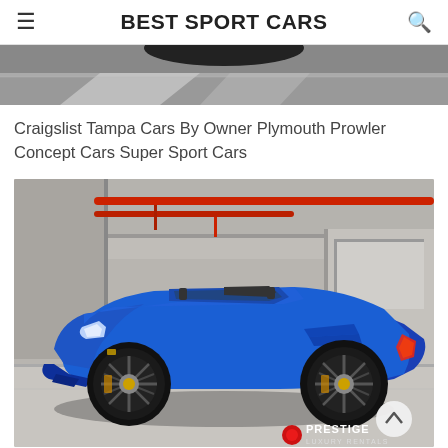BEST SPORT CARS
[Figure (photo): Partial top image strip showing a dark road/track surface with white line markings and part of a dark object (likely a car) at the top]
Craigslist Tampa Cars By Owner Plymouth Prowler Concept Cars Super Sport Cars
[Figure (photo): Blue Lamborghini Gallardo Spyder convertible sports car parked in a concrete parking garage with red pipe installations overhead. Prestige Luxury Rentals watermark/logo in bottom right corner.]